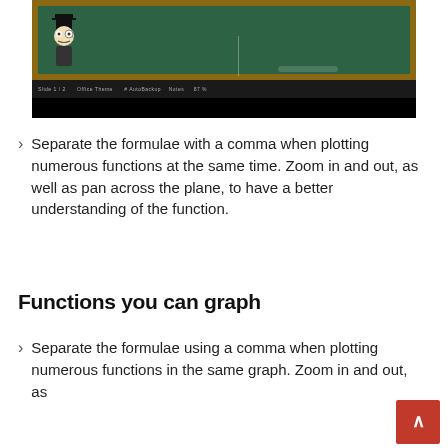[Figure (screenshot): Screenshot of a presentation software showing a chalkboard slide with a meme character (gentleman with top hat) on a green chalkboard background, with a dark toolbar below.]
Separate the formulae with a comma when plotting numerous functions at the same time. Zoom in and out, as well as pan across the plane, to have a better understanding of the function.
Functions you can graph
Separate the formulae using a comma when plotting numerous functions in the same graph. Zoom in and out, as